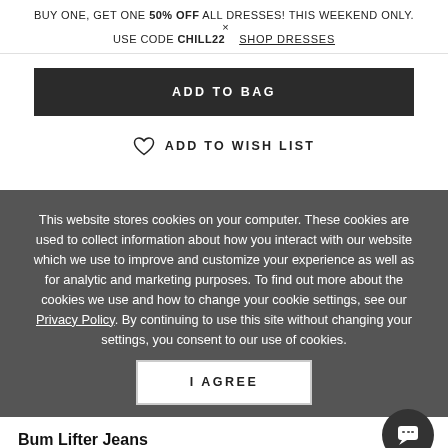BUY ONE, GET ONE 50% OFF ALL DRESSES! THIS WEEKEND ONLY. × USE CODE CHILL22   SHOP DRESSES
ADD TO BAG
ADD TO WISH LIST
This website stores cookies on your computer. These cookies are used to collect information about how you interact with our website which we use to improve and customize your experience as well as for analytic and marketing purposes. To find out more about the cookies we use and how to change your cookie settings, see our Privacy Policy. By continuing to use this site without changing your settings, you consent to our use of cookies.
I AGREE
Bum Lifter Jeans
$39   STYLE #Y51506